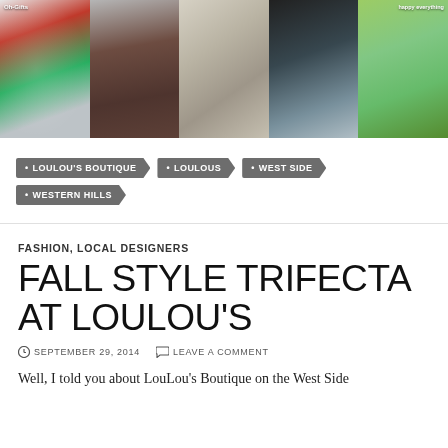[Figure (photo): A horizontal strip of five photos showing: Christmas ornaments with NOEL text, a woman with a brown handbag and hat, silver/metallic bangles, a woman wearing a dark scarf and jeans, and a decorative round sign in grass.]
LOULOU'S BOUTIQUE
LOULOUS
WEST SIDE
WESTERN HILLS
FASHION, LOCAL DESIGNERS
FALL STYLE TRIFECTA AT LOULOU'S
SEPTEMBER 29, 2014   LEAVE A COMMENT
Well, I told you about LouLou's Boutique on the West Side